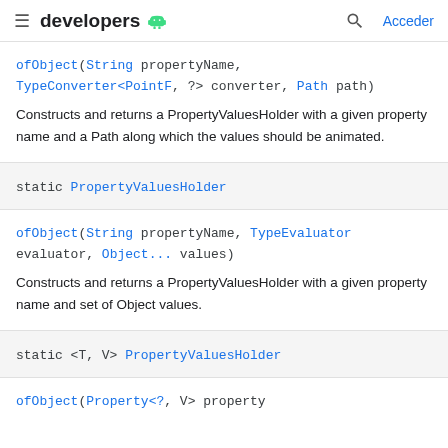developers
ofObject(String propertyName, TypeConverter<PointF, ?> converter, Path path)
Constructs and returns a PropertyValuesHolder with a given property name and a Path along which the values should be animated.
static PropertyValuesHolder
ofObject(String propertyName, TypeEvaluator evaluator, Object... values)
Constructs and returns a PropertyValuesHolder with a given property name and set of Object values.
static <T, V> PropertyValuesHolder
ofObject(Property<?, V> property...